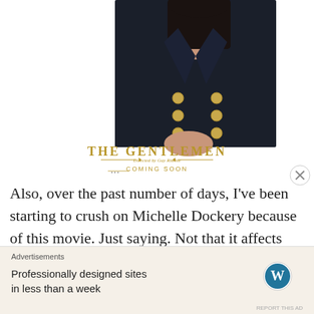[Figure (photo): Movie poster for 'The Gentlemen' directed by Guy Ritchie. Shows a woman in a dark blazer with gold buttons, text reads 'THE GENTLEMEN', 'Directed by Guy Ritchie', 'COMING SOON']
Also, over the past number of days, I've been starting to crush on Michelle Dockery because of this movie. Just saying. Not that it affects my score all that much.
Advertisements
Professionally designed sites in less than a week